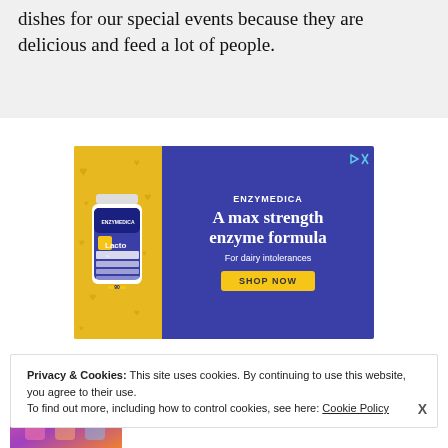dishes for our special events because they are delicious and feed a lot of people.
[Figure (infographic): Enzymedica advertisement banner: yellow left panel with product bottle (Lacto enzyme supplement), blue/purple right panel with text 'ENZYMEDICA', 'A max strength enzyme formula', 'For dairy intolerances', and a yellow 'SHOP NOW' button.]
Privacy & Cookies: This site uses cookies. By continuing to use this website, you agree to their use. To find out more, including how to control cookies, see here: Cookie Policy
[Figure (infographic): Bottom advertisement strip with 'Ad' label, colorful imagery of people, and text 'Choose your story' with 'Play Now' link.]